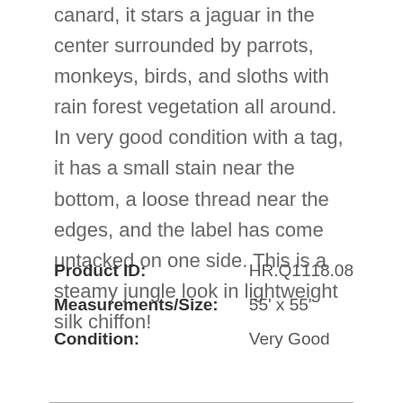canard, it stars a jaguar in the center surrounded by parrots, monkeys, birds, and sloths with rain forest vegetation all around. In very good condition with a tag, it has a small stain near the bottom, a loose thread near the edges, and the label has come untacked on one side. This is a steamy jungle look in lightweight silk chiffon!
| Field | Value |
| --- | --- |
| Product ID: | HR.Q1118.08 |
| Measurements/Size: | 55' x 55' |
| Condition: | Very Good |